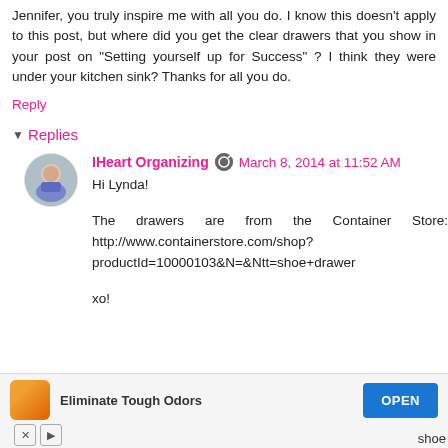Jennifer, you truly inspire me with all you do. I know this doesn't apply to this post, but where did you get the clear drawers that you show in your post on "Setting yourself up for Success" ? I think they were under your kitchen sink? Thanks for all you do.
Reply
Replies
IHeart Organizing  March 8, 2014 at 11:52 AM
Hi Lynda!

The drawers are from the Container Store: http://www.containerstore.com/shop?productId=10000103&N=&Ntt=shoe+drawer

xo!
[Figure (screenshot): Advertisement banner: 'Eliminate Tough Odors' with OPEN button and ad control icons]